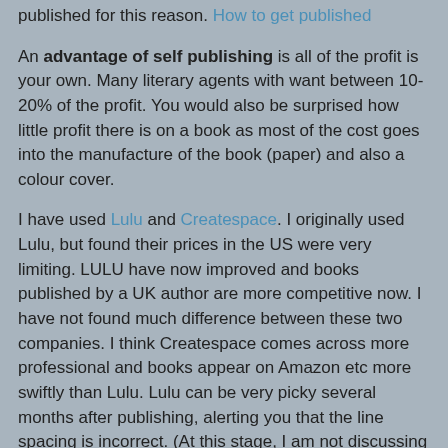published for this reason. How to get published
An advantage of self publishing is all of the profit is your own. Many literary agents with want between 10-20% of the profit. You would also be surprised how little profit there is on a book as most of the cost goes into the manufacture of the book (paper) and also a colour cover.
I have used Lulu and Createspace. I originally used Lulu, but found their prices in the US were very limiting. LULU have now improved and books published by a UK author are more competitive now. I have not found much difference between these two companies. I think Createspace comes across more professional and books appear on Amazon etc more swiftly than Lulu. Lulu can be very picky several months after publishing, alerting you that the line spacing is incorrect. (At this stage, I am not discussing e-publishing. I shall cover that separately. However, both companies offering some form of encryption so your book simply can't be copied to other easily.)
You will need an ISBN bar code as that is the reference